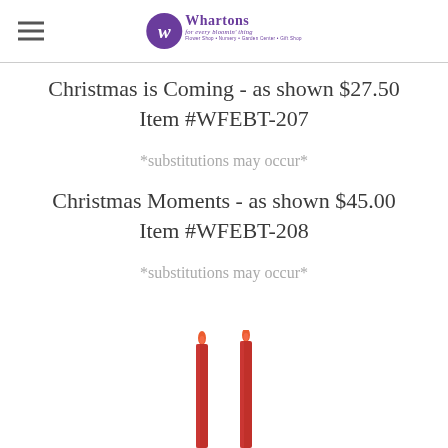Whartons for every bloomin thing — Flower Shop • Nursery • Garden Center • Gift Shop
Christmas is Coming - as shown $27.50
Item #WFEBT-207
*substitutions may occur*
Christmas Moments - as shown $45.00
Item #WFEBT-208
*substitutions may occur*
[Figure (photo): Two red taper candles shown partially, lower portion visible at bottom of page]